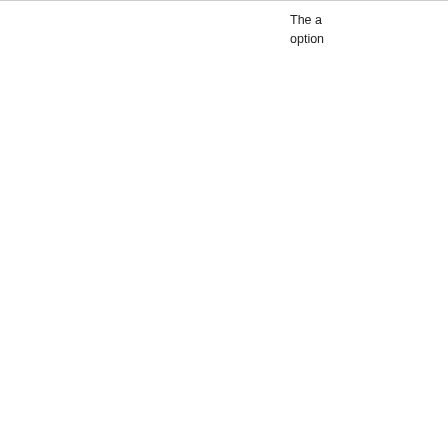The a option
(bullet 1 - partially visible)
(bullet 2 - partially visible)
(bullet 3 - partially visible)
(bullet 4 - partially visible)
(bullet 5 - partially visible)
| Property | Type | Description |
| --- | --- | --- |
| showClearButton? | Boolean | Define boolean control to sho icon. D 'false'. |